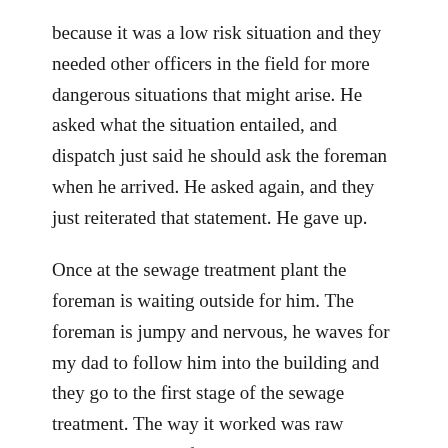because it was a low risk situation and they needed other officers in the field for more dangerous situations that might arise. He asked what the situation entailed, and dispatch just said he should ask the foreman when he arrived. He asked again, and they just reiterated that statement. He gave up.
Once at the sewage treatment plant the foreman is waiting outside for him. The foreman is jumpy and nervous, he waves for my dad to follow him into the building and they go to the first stage of the sewage treatment. The way it worked was raw sewage would be funneled onto a conveyor belt and water would be sprayed on top. The conveyor belt is a metal mesh so the sewage liquefies and drops below into a vat for the second stage of treatment. Anything that stays solid is